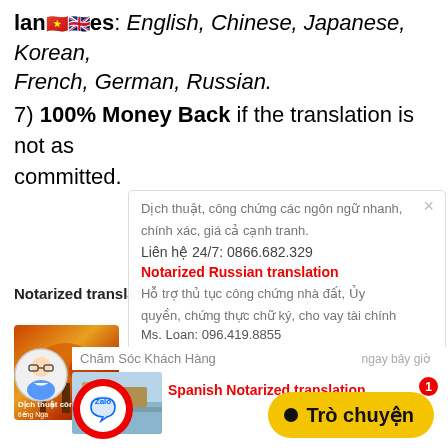languages: English, Chinese, Japanese, Korean, French, German, Russian.
7) 100% Money Back if the translation is not as committed.
Dịch thuật, công chứng các ngôn ngữ nhanh, chính xác, giá cả cạnh tranh.
Liên hệ 24/7: 0866.682.329
Notarized translation
Notarized Russian translation
Hỗ trợ thủ tục công chứng nhà đất, Ủy quyền, chứng thực chữ ký, cho vay tài chính
Ms. Loan: 096.419.8855
Chăm Sóc Khách Hàng  ngay bây giờ
Spanish Notarized translation
Trò chuyện